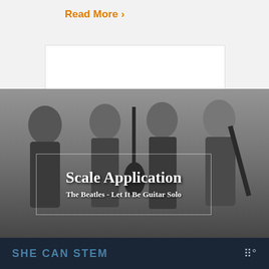Read More >
[Figure (photo): Black and white photo of The Beatles (four members) posing with guitars, with overlaid text 'Scale Application' and subtitle 'The Beatles - Let It Be Guitar Solo'. Photo credit: EMI, Public domain, via Wikimedia Commons]
Scale Application: The
SHE CAN STEM